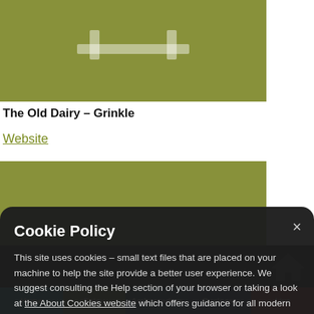[Figure (illustration): Green background image with white table/furniture icon silhouette — top image area for 'The Old Dairy – Grinkle']
The Old Dairy – Grinkle
Website
[Figure (illustration): Green background with a QR code placeholder pattern]
Cookie Policy
This site uses cookies – small text files that are placed on your machine to help the site provide a better user experience. We suggest consulting the Help section of your browser or taking a look at the About Cookies website which offers guidance for all modern browsers
Accept Cookies for this website
Decline Cookies
Home | Enjoy | Ambassadors | Business | Live